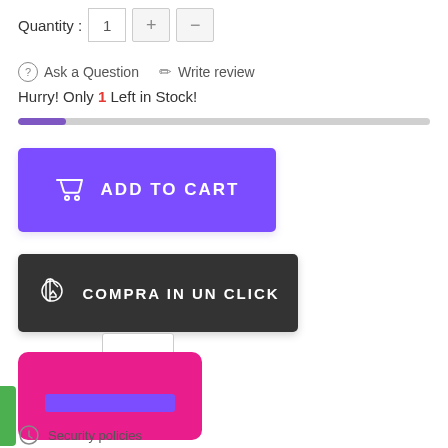Quantity : 1 + -
Ask a Question    Write review
Hurry! Only 1 Left in Stock!
[Figure (infographic): Progress bar showing low stock level, approximately 10% filled in purple on grey background]
[Figure (infographic): Purple ADD TO CART button with shopping bag icon]
[Figure (infographic): Dark grey COMPRA IN UN CLICK button with cursor/click icon]
[Figure (infographic): Hot pink WhatsApp/chat card widget with purple inner button, overlapping white tooltip box]
Security policies